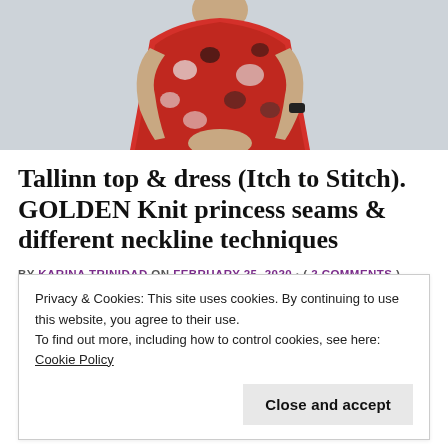[Figure (photo): Partial photo of a person wearing a floral red, black, and white dress/top, cropped to show torso and arms against a light background]
Tallinn top & dress (Itch to Stitch). GOLDEN Knit princess seams & different neckline techniques
BY KARINA TRINIDAD ON FEBRUARY 25, 2020 · ( 2 COMMENTS )
The Tallinn top and dress from Itch to Stitch
Privacy & Cookies: This site uses cookies. By continuing to use this website, you agree to their use.
To find out more, including how to control cookies, see here: Cookie Policy
Close and accept